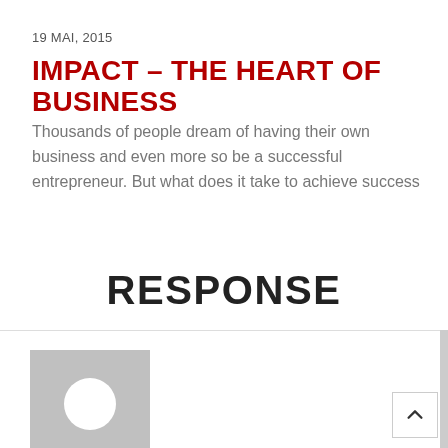19 MAI, 2015
IMPACT – THE HEART OF BUSINESS
Thousands of people dream of having their own business and even more so be a successful entrepreneur. But what does it take to achieve success
RESPONSE
[Figure (photo): User avatar placeholder with grey background and white circle]